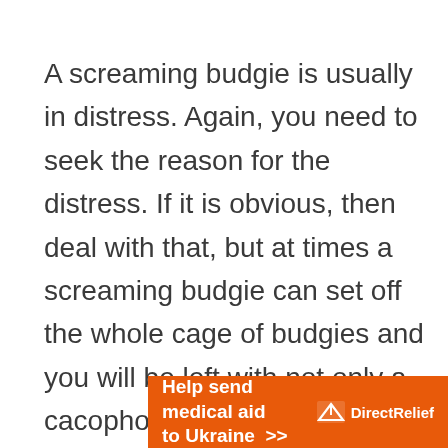A screaming budgie is usually in distress. Again, you need to seek the reason for the distress. If it is obvious, then deal with that, but at times a screaming budgie can set off the whole cage of budgies and you will be left with not only a cacophony of noisy screaming budgies, but also confused and unsettled budgies.

There is even a story of a budgie keeper who
[Figure (other): Advertisement banner: orange background with bold white text 'Help send medical aid to Ukraine >>' and Direct Relief logo on the right.]